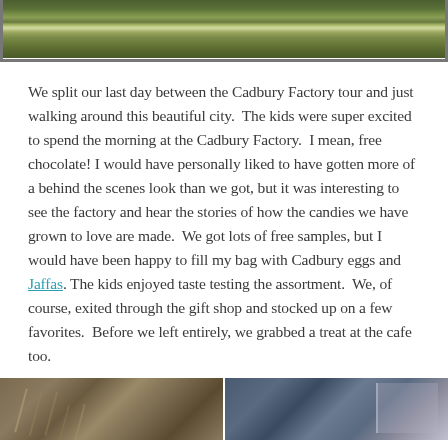[Figure (photo): Top portion of a photo showing a river or canal with reflections of trees and greenery on the water surface]
We split our last day between the Cadbury Factory tour and just walking around this beautiful city.  The kids were super excited to spend the morning at the Cadbury Factory.  I mean, free chocolate! I would have personally liked to have gotten more of a behind the scenes look than we got, but it was interesting to see the factory and hear the stories of how the candies we have grown to love are made.  We got lots of free samples, but I would have been happy to fill my bag with Cadbury eggs and Jaffas. The kids enjoyed taste testing the assortment.  We, of course, exited through the gift shop and stocked up on a few favorites.  Before we left entirely, we grabbed a treat at the cafe too.
[Figure (photo): Bottom portion showing two side-by-side photos: left shows structural beams/scaffolding in warm tones, right shows a building or structure in cooler blue-grey tones]